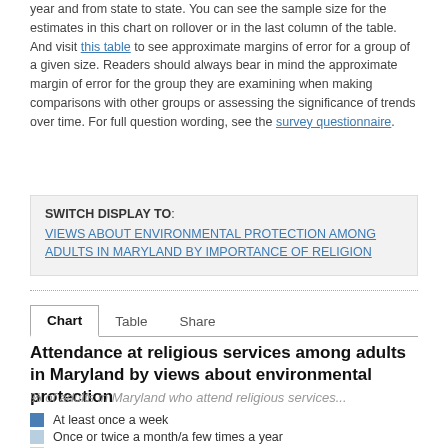year and from state to state. You can see the sample size for the estimates in this chart on rollover or in the last column of the table. And visit this table to see approximate margins of error for a group of a given size. Readers should always bear in mind the approximate margin of error for the group they are examining when making comparisons with other groups or assessing the significance of trends over time. For full question wording, see the survey questionnaire.
SWITCH DISPLAY TO: VIEWS ABOUT ENVIRONMENTAL PROTECTION AMONG ADULTS IN MARYLAND BY IMPORTANCE OF RELIGION
Chart  Table  Share
Attendance at religious services among adults in Maryland by views about environmental protection
% of adults in Maryland who attend religious services...
At least once a week
Once or twice a month/a few times a year
Seldom/never